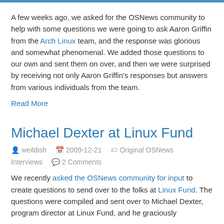A few weeks ago, we asked for the OSNews community to help with some questions we were going to ask Aaron Griffin from the Arch Linux team, and the response was glorious and somewhat phenomenal. We added those questions to our own and sent them on over, and then we were surprised by receiving not only Aaron Griffin's responses but answers from various individuals from the team.
Read More
Michael Dexter at Linux Fund
weildish  2009-12-21  Original OSNews
Interviews  2 Comments
We recently asked the OSNews community for input to create questions to send over to the folks at Linux Fund. The questions were compiled and sent over to Michael Dexter, program director at Linux Fund, and he graciously